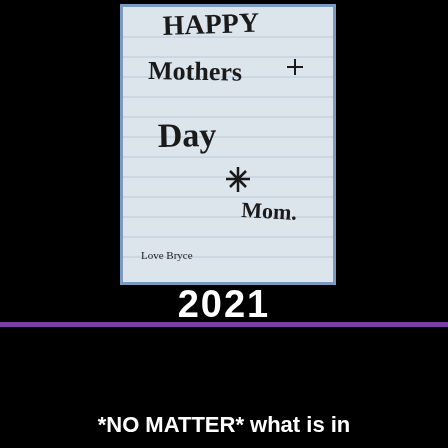[Figure (photo): A child's handwritten note on lined paper reading 'Happy Mothers Day Mom.' signed 'Love Bryce', shown inside a blue-bordered frame on black background]
2021
*NO MATTER* what is in